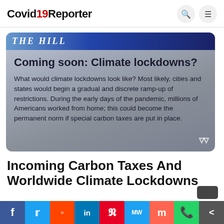Covid19Reporter
[Figure (screenshot): The Hill article card with headline 'Coming soon: Climate lockdowns?' and body text about what climate lockdowns would look like, on a silver/blue gradient background with The Hill logo at top.]
Incoming Carbon Taxes And Worldwide Climate Lockdowns
[Figure (infographic): Social share bar with buttons for Facebook, Twitter, Reddit, LinkedIn, Pinterest, MeWe, Mix, WhatsApp, and More.]